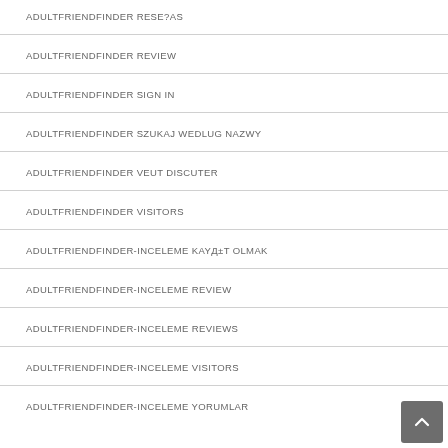ADULTFRIENDFINDER RESE?AS
ADULTFRIENDFINDER REVIEW
ADULTFRIENDFINDER SIGN IN
ADULTFRIENDFINDER SZUKAJ WEDLUG NAZWY
ADULTFRIENDFINDER VEUT DISCUTER
ADULTFRIENDFINDER VISITORS
ADULTFRIENDFINDER-INCELEME KAYД±T OLMAK
ADULTFRIENDFINDER-INCELEME REVIEW
ADULTFRIENDFINDER-INCELEME REVIEWS
ADULTFRIENDFINDER-INCELEME VISITORS
ADULTFRIENDFINDER-INCELEME YORUMLAR